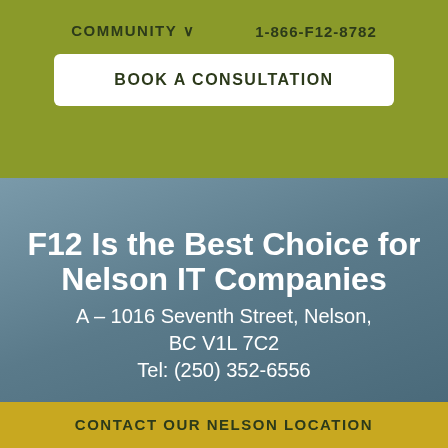COMMUNITY ∨   1-866-F12-8782
BOOK A CONSULTATION
F12 Is the Best Choice for Nelson IT Companies
A – 1016 Seventh Street, Nelson, BC V1L 7C2
Tel: (250) 352-6556
CONTACT OUR NELSON LOCATION